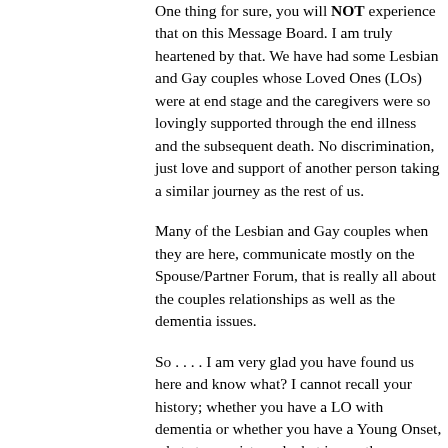One thing for sure, you will NOT experience that on this Message Board. I am truly heartened by that. We have had some Lesbian and Gay couples whose Loved Ones (LOs) were at end stage and the caregivers were so lovingly supported through the end illness and the subsequent death. No discrimination, just love and support of another person taking a similar journey as the rest of us.
Many of the Lesbian and Gay couples when they are here, communicate mostly on the Spouse/Partner Forum, that is really all about the couples relationships as well as the dementia issues.
So . . . . I am very glad you have found us here and know what? I cannot recall your history; whether you have a LO with dementia or whether you have a Young Onset, what stage exists and what issues there may be, etc. I am looking forward to getting to know you and you are now part of this large, supportive extended e-family. We are here for one another. Welcome!